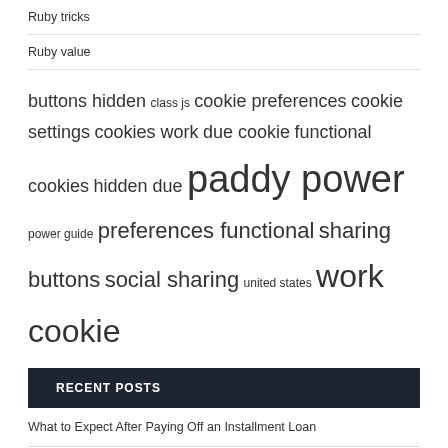Ruby tricks
Ruby value
[Figure (other): Tag cloud containing: buttons hidden, class js, cookie preferences, cookie settings, cookies work, due cookie, functional cookies, hidden due, paddy power, power guide, preferences functional, sharing buttons, social sharing, united states, work cookie]
RECENT POSTS
What to Expect After Paying Off an Installment Loan
Race near Timaru to reach blistering speeds